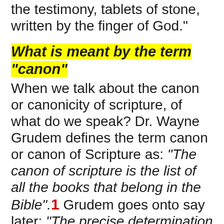the testimony, tablets of stone, written by the finger of God."
What is meant by the term "canon"
When we talk about the canon or canonicity of scripture, of what do we speak? Dr. Wayne Grudem defines the term canon or canon of Scripture as: "The canon of scripture is the list of all the books that belong in the Bible".1 Grudem goes onto say later: "The precise determination of the extent of the canon of Scripture is therefore of utmost importance. If we trust and obey God absolutely we must have a